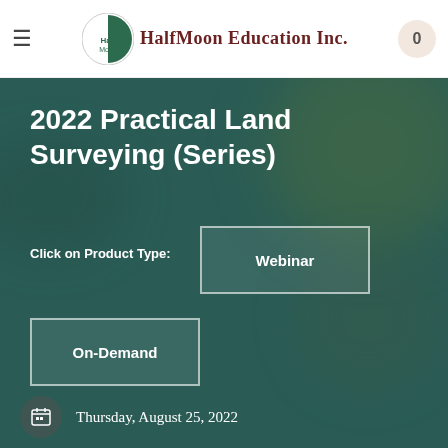HalfMoon Education Inc.
2022 Practical Land Surveying (Series)
Click on Product Type:
Webinar
On-Demand
Thursday, August 25, 2022